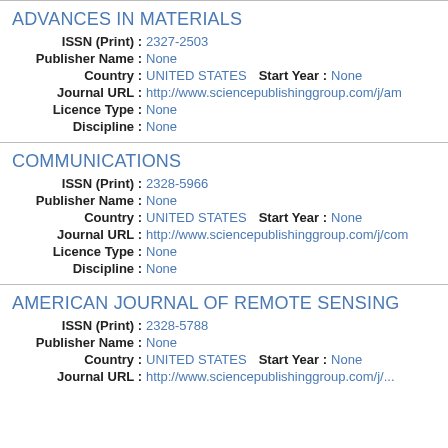ADVANCES IN MATERIALS
ISSN (Print) : 2327-2503
Publisher Name : None
Country : UNITED STATES  Start Year : None
Journal URL : http://www.sciencepublishinggroup.com/j/am
Licence Type : None
Discipline : None
COMMUNICATIONS
ISSN (Print) : 2328-5966
Publisher Name : None
Country : UNITED STATES  Start Year : None
Journal URL : http://www.sciencepublishinggroup.com/j/com
Licence Type : None
Discipline : None
AMERICAN JOURNAL OF REMOTE SENSING
ISSN (Print) : 2328-5788
Publisher Name : None
Country : UNITED STATES  Start Year : None
Journal URL : http://www.sciencepublishinggroup.com/j/...